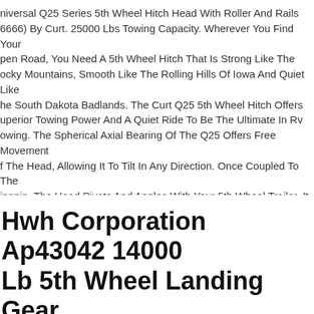niversal Q25 Series 5th Wheel Hitch Head With Roller And Rails (6666) By Curt. 25000 Lbs Towing Capacity. Wherever You Find Your Open Road, You Need A 5th Wheel Hitch That Is Strong Like The Rocky Mountains, Smooth Like The Rolling Hills Of Iowa And Quiet Like The South Dakota Badlands. The Curt Q25 5th Wheel Hitch Offers Superior Towing Power And A Quiet Ride To Be The Ultimate In Rv Towing. The Spherical Axial Bearing Of The Q25 Offers Free Movement Of The Head, Allowing It To Tilt In Any Direction. Once Coupled To The Kingpin, The Head Pivots And Angles With Your 5th Wheel Trailer. It Also Uses A Pair Of Dual-locking Jaws To Completely Wrap The Kingpin And Ensure A Secure Vehicle-trailer Connection. To Make The Q25 Even Quieter, It Comes With Three Grease Fittings And A Polyethylene Lube Plate For Optimum Lubrication.
Hwh Corporation Ap43042 14000 Lb 5th Wheel Landing Gear